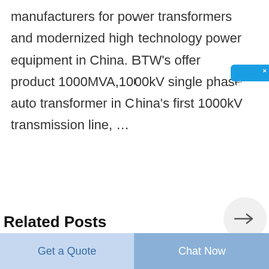manufacturers for power transformers and modernized high technology power equipment in China. BTW's offer product 1000MVA,1000kV single phase auto transformer in China's first 1000kV transmission line, …
Related Posts
electric connectors types
antique & collectible autos :: 34/35 chey